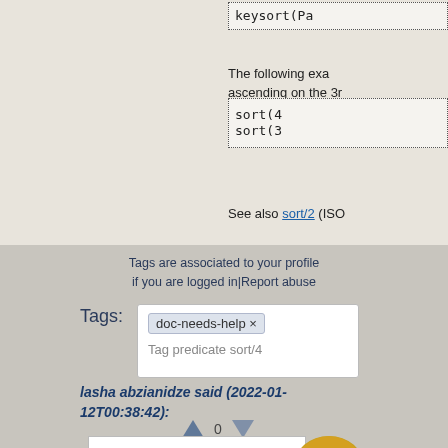keysort(Pa
The following exa ascending on the 3r
sort(4
sort(3
See also sort/2 (ISO
Tags are associated to your profile if you are logged in|Report abuse
Tags: doc-needs-help ×
Tag predicate sort/4
lasha abzianidze said (2022-01-12T00:38:42):
0
This behaviour is not entirely obvious. It should